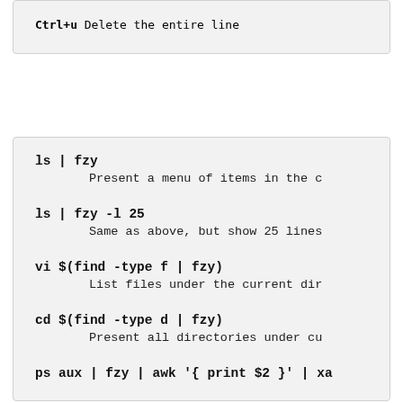Ctrl+u Delete the entire line
ls | fzy
        Present a menu of items in the c
ls | fzy -l 25
        Same as above, but show 25 lines
vi $(find -type f | fzy)
        List files under the current dir
cd $(find -type d | fzy)
        Present all directories under cu
ps aux | fzy | awk '{ print $2 }' | xa